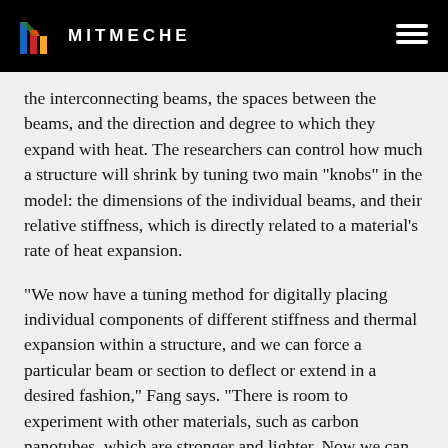MITMECHE
the interconnecting beams, the spaces between the beams, and the direction and degree to which they expand with heat. The researchers can control how much a structure will shrink by tuning two main “knobs” in the model: the dimensions of the individual beams, and their relative stiffness, which is directly related to a material’s rate of heat expansion.
“We now have a tuning method for digitally placing individual components of different stiffness and thermal expansion within a structure, and we can force a particular beam or section to deflect or extend in a desired fashion,” Fang says. “There is room to experiment with other materials, such as carbon nanotubes, which are stronger and lighter. Now we can have more fun in the lab exploring these different structures.”
This research was supported, in part, by the Defense Advanced Research Projects Agency.